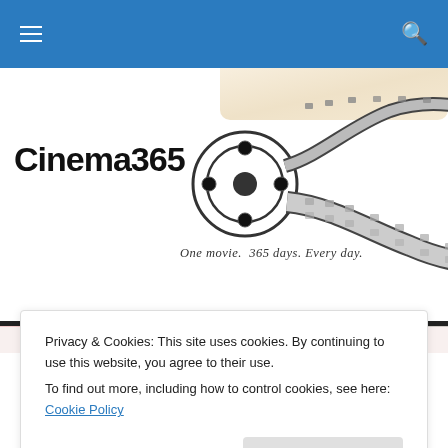Cinema365 — One movie. 365 days. Every day.
[Figure (illustration): Cinema365 logo with film reel and strip graphic]
TAGGED WITH MAY 2017
Privacy & Cookies: This site uses cookies. By continuing to use this website, you agree to their use. To find out more, including how to control cookies, see here: Cookie Policy
Close and accept